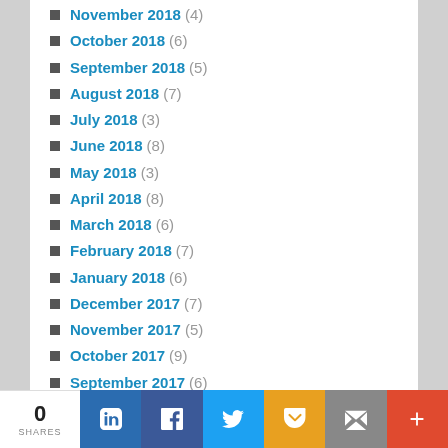November 2018 (4)
October 2018 (6)
September 2018 (5)
August 2018 (7)
July 2018 (3)
June 2018 (8)
May 2018 (3)
April 2018 (8)
March 2018 (6)
February 2018 (7)
January 2018 (6)
December 2017 (7)
November 2017 (5)
October 2017 (9)
September 2017 (6)
August 2017 (5)
July 2017 (9)
June 2017 (14)
May 2017 (18)
0 SHARES | LinkedIn | Facebook | Twitter | Pocket | Email | More